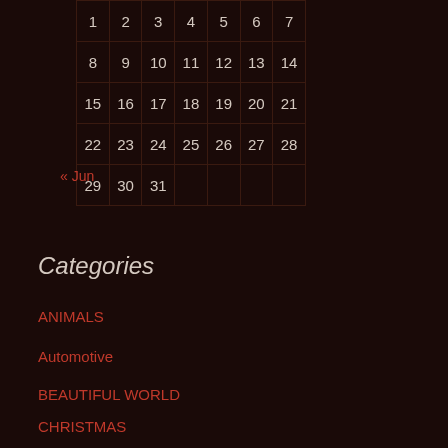| 1 | 2 | 3 | 4 | 5 | 6 | 7 |
| 8 | 9 | 10 | 11 | 12 | 13 | 14 |
| 15 | 16 | 17 | 18 | 19 | 20 | 21 |
| 22 | 23 | 24 | 25 | 26 | 27 | 28 |
| 29 | 30 | 31 |  |  |  |  |
« Jun
Categories
ANIMALS
Automotive
BEAUTIFUL WORLD
CHRISTMAS
CHURCHES